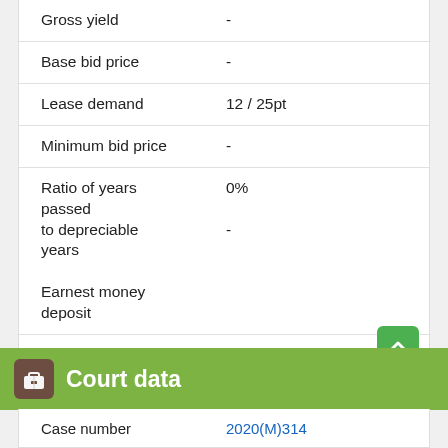| Field | Value |
| --- | --- |
| Gross yield | - |
| Base bid price | - |
| Lease demand | 12 / 25pt |
| Minimum bid price | - |
| Ratio of years passed to depreciable years | 0% |
|  | - |
| Earnest money deposit |  |
| Year/ month built | - |
Court data
Case number  2020(M)314